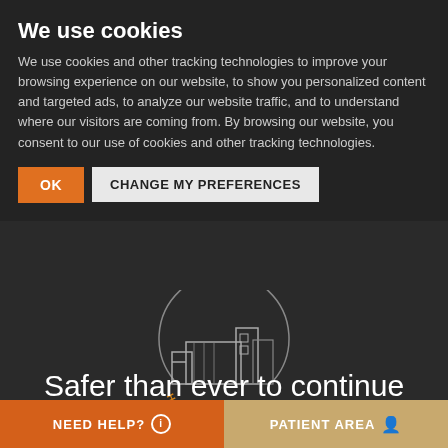We use cookies
We use cookies and other tracking technologies to improve your browsing experience on our website, to show you personalized content and targeted ads, to analyze our website traffic, and to understand where our visitors are coming from. By browsing our website, you consent to our use of cookies and other tracking technologies.
[Figure (logo): Hospital Seguro logo: circular design with hospital building illustration and text 'HOSPITAL SEGURO' in orange curved text at the bottom]
Safer than ever to continue taking care of you
NEED HELP?    PATIENT AREA